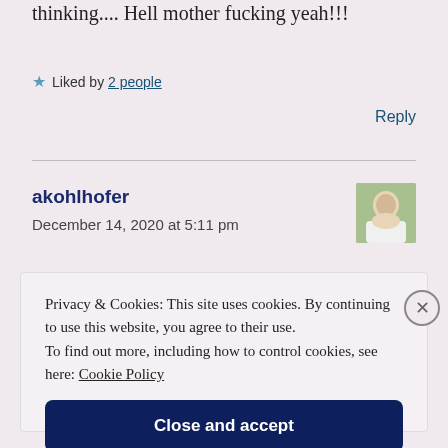thinking.... Hell mother fucking yeah!!!
★ Liked by 2 people
Reply
akohlhofer
December 14, 2020 at 5:11 pm
[Figure (photo): Avatar photo of commenter akohlhofer, a person in a white top outdoors]
Privacy & Cookies: This site uses cookies. By continuing to use this website, you agree to their use.
To find out more, including how to control cookies, see here: Cookie Policy
Close and accept